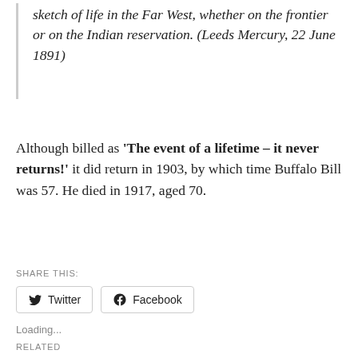sketch of life in the Far West, whether on the frontier or on the Indian reservation. (Leeds Mercury, 22 June 1891)
Although billed as 'The event of a lifetime – it never returns!' it did return in 1903, by which time Buffalo Bill was 57. He died in 1917, aged 70.
SHARE THIS:
Twitter
Facebook
Loading...
RELATED